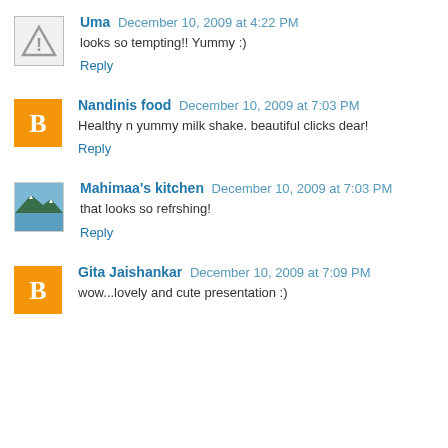Uma December 10, 2009 at 4:22 PM
looks so tempting!! Yummy :)
Reply
Nandinis food December 10, 2009 at 7:03 PM
Healthy n yummy milk shake. beautiful clicks dear!
Reply
Mahimaa's kitchen December 10, 2009 at 7:03 PM
that looks so refrshing!
Reply
Gita Jaishankar December 10, 2009 at 7:09 PM
wow...lovely and cute presentation :)